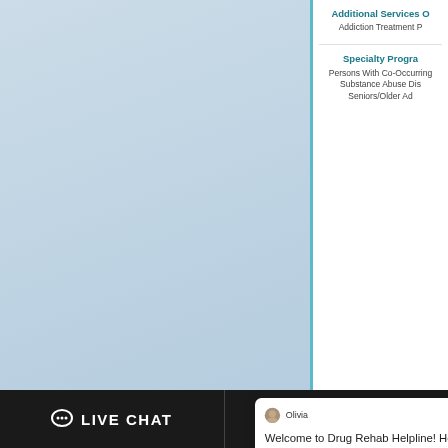[Figure (screenshot): Screenshot of a drug rehab helpline website with a live chat popup from agent Olivia saying 'Welcome to Drug Rehab Helpline! How can we help you?' overlaid on a blue-gradient left panel and white right panel with additional services text. Bottom bar shows LIVE CHAT and TEXT US buttons. An online agent female photo with green dot and chat bubble icon visible in lower right.]
Additional Services O
Addiction Treatment P
Specialty Progra
Persons With Co-Occurring
Substance Abuse Dis
Seniors/Older Ad
5 No
B
Sub
Olivia
Welcome to Drug Rehab Helpline! How can we help you?
Online Agent
Additional Services O
Ad ment P
LIVE CHAT   TEXT US